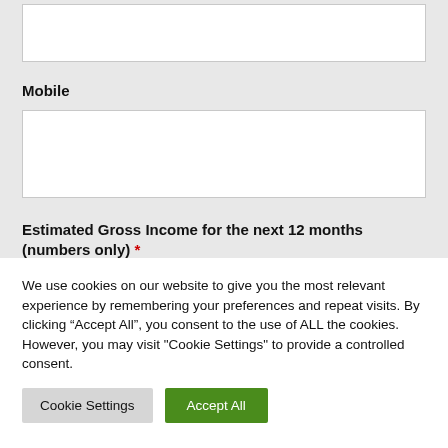Mobile
Estimated Gross Income for the next 12 months (numbers only) *
We use cookies on our website to give you the most relevant experience by remembering your preferences and repeat visits. By clicking “Accept All”, you consent to the use of ALL the cookies. However, you may visit "Cookie Settings" to provide a controlled consent.